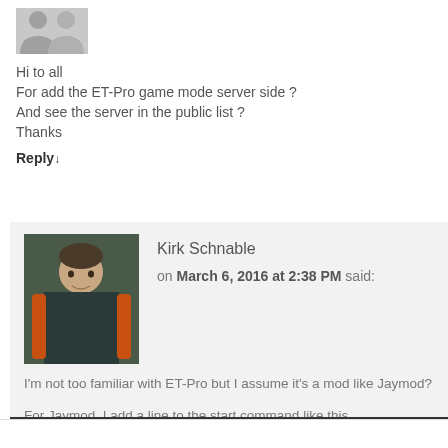[Figure (illustration): Gray placeholder avatar silhouette image at top of comment]
Hi to all
For add the ET-Pro game mode server side ?
And see the server in the public list ?
Thanks
Reply↓
[Figure (photo): Profile photo of Kirk Schnable sitting in a gaming chair]
Kirk Schnable
on March 6, 2016 at 2:38 PM said:
I'm not too familiar with ET-Pro but I assume it's a mod like Jaymod?
For Jaymod, I add a line to the start command like this.
./etded +set fs_game=jaymod
Reply↓